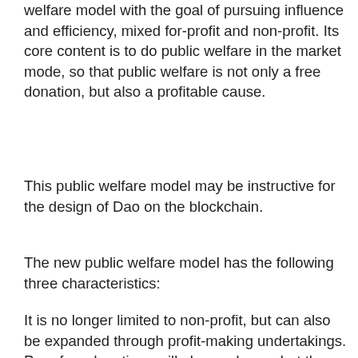welfare model with the goal of pursuing influence and efficiency, mixed for-profit and non-profit. Its core content is to do public welfare in the market mode, so that public welfare is not only a free donation, but also a profitable cause.
This public welfare model may be instructive for the design of Dao on the blockchain.
The new public welfare model has the following three characteristics:
It is no longer limited to non-profit, but can also be expanded through profit-making undertakings. Pure free donations will always dry up, but the reality is that there are huge assets waiting to be developed among the government, private enterprises and non-profit sectors. The new public welfare combines supply and demand, capital market and government rules, so that